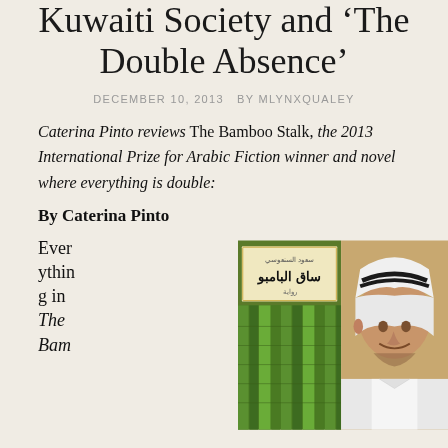Kuwaiti Society and 'The Double Absence'
DECEMBER 10, 2013  BY MLYNXQUALEY
Caterina Pinto reviews The Bamboo Stalk, the 2013 International Prize for Arabic Fiction winner and novel where everything is double:
By Caterina Pinto
Everything in The Bam
[Figure (photo): Left side: book cover of 'The Bamboo Stalk' (ساق البامبو) in Arabic with bamboo imagery; Right side: portrait photo of a man wearing traditional Kuwaiti white thobe and ghutra]